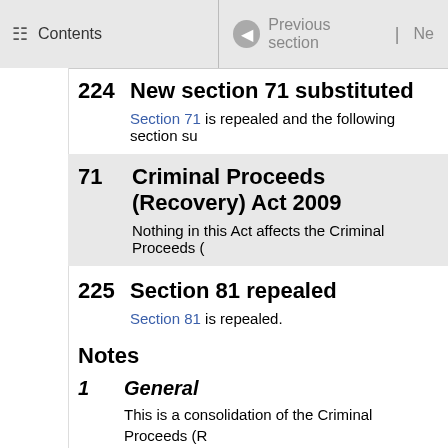Contents | Previous section | Ne
224 New section 71 substituted
Section 71 is repealed and the following section su
71 Criminal Proceeds (Recovery) Act 2009
Nothing in this Act affects the Criminal Proceeds (
225 Section 81 repealed
Section 81 is repealed.
Notes
1 General
This is a consolidation of the Criminal Proceeds (R legislation so that it shows the law as at its stated d
2 Legal status
A consolidation is taken to correctly state, as at its and by the amendments. This presumption applies
Section 78 of the Legislation Act 2019 provides th